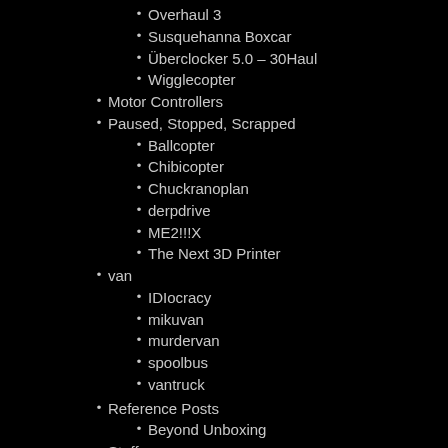Overhaul 3
Susquehanna Boxcar
Überclocker 5.0 – 30Haul
Wigglecopter
Motor Controllers
Paused, Stopped, Scrapped
Ballcopter
Chibicopter
Chuckranoplan
derpdrive
ME2!!!X
The Next 3D Printer
van
IDIocracy
mikuvan
murdervan
spoolbus
vantruck
Reference Posts
Beyond Unboxing
Stuff